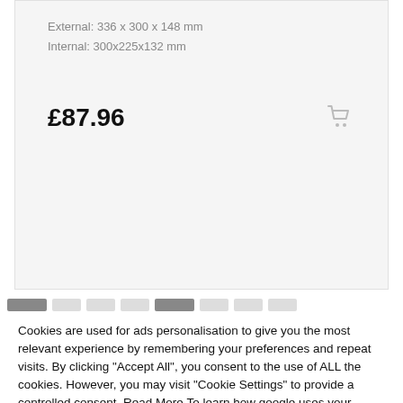External: 336 x 300 x 148 mm
Internal: 300x225x132 mm
£87.96
Cookies are used for ads personalisation to give you the most relevant experience by remembering your preferences and repeat visits. By clicking "Accept All", you consent to the use of ALL the cookies. However, you may visit "Cookie Settings" to provide a controlled consent. Read More To learn how google uses your personal data visit Google's Privacy & Terms site